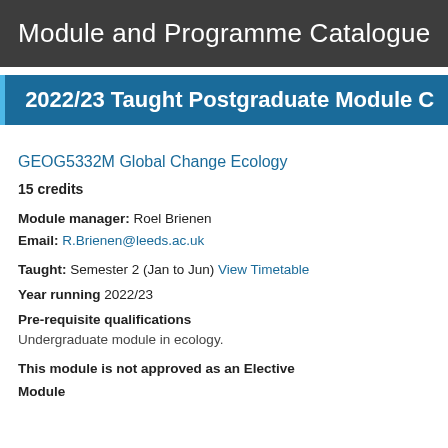Module and Programme Catalogue
2022/23 Taught Postgraduate Module C
GEOG5332M Global Change Ecology
15 credits
Module manager: Roel Brienen
Email: R.Brienen@leeds.ac.uk
Taught: Semester 2 (Jan to Jun) View Timetable
Year running 2022/23
Pre-requisite qualifications
Undergraduate module in ecology.
This module is not approved as an Elective
Module